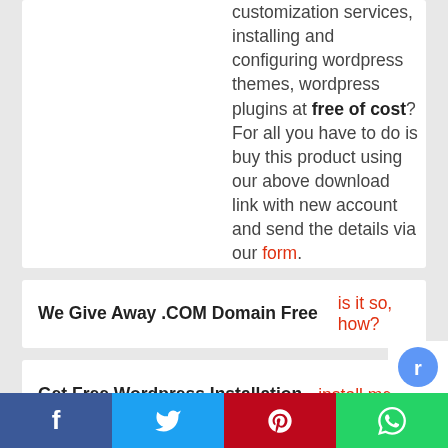customization services, installing and configuring wordpress themes, wordpress plugins at free of cost? For all you have to do is buy this product using our above download link with new account and send the details via our form.
We Give Away .COM Domain Free   is it so, how?
Get Free Wordpress Installation   install me